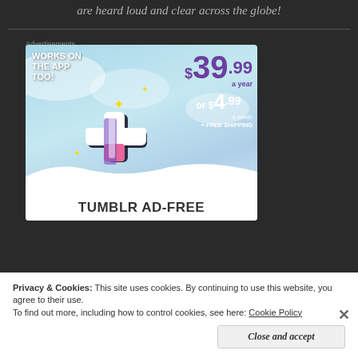are heard loud and clear across the globe!
Advertisements
[Figure (illustration): Tumblr Ad-Free subscription advertisement showing Tumblr logo with sparkling stars, price of $39.99 a year or $4.99 a month plus free shipping, and text 'WORKS ON THE APP TOO!' and 'TUMBLR AD-FREE']
Privacy & Cookies: This site uses cookies. By continuing to use this website, you agree to their use.
To find out more, including how to control cookies, see here: Cookie Policy